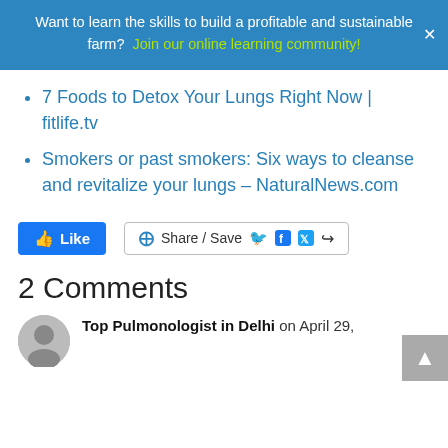Want to learn the skills to build a profitable and sustainable farm? Join our online learning community!
7 Foods to Detox Your Lungs Right Now | fitlife.tv
Smokers or past smokers: Six ways to cleanse and revitalize your lungs – NaturalNews.com
[Figure (other): Facebook Like button and Share/Save social sharing button with Facebook and Twitter icons]
2 Comments
Top Pulmonologist in Delhi on April 29,